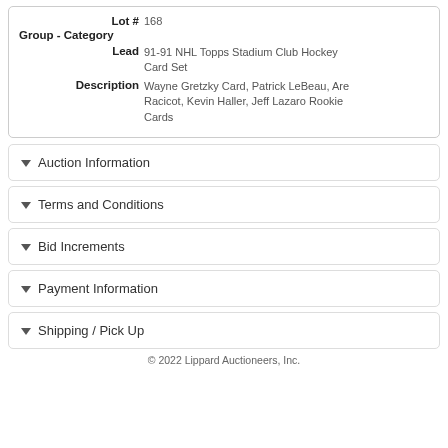Lot # 168
Group - Category
Lead 91-91 NHL Topps Stadium Club Hockey Card Set
Description Wayne Gretzky Card, Patrick LeBeau, Are Racicot, Kevin Haller, Jeff Lazaro Rookie Cards
Auction Information
Terms and Conditions
Bid Increments
Payment Information
Shipping / Pick Up
© 2022 Lippard Auctioneers, Inc.